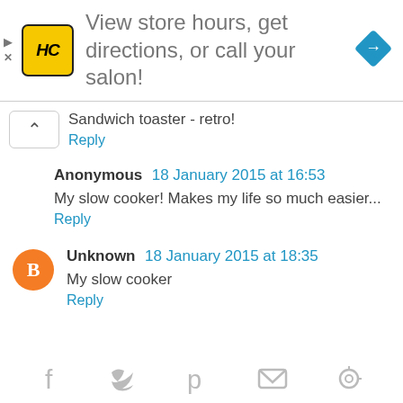[Figure (infographic): Advertisement banner with HC logo, text 'View store hours, get directions, or call your salon!' and a blue navigation diamond icon]
Sandwich toaster - retro!
Reply
Anonymous 18 January 2015 at 16:53
My slow cooker! Makes my life so much easier...
Reply
Unknown 18 January 2015 at 18:35
My slow cooker
Reply
[Figure (infographic): Social sharing icons row: Facebook, Twitter, Pinterest, Email, and another icon in light gray]